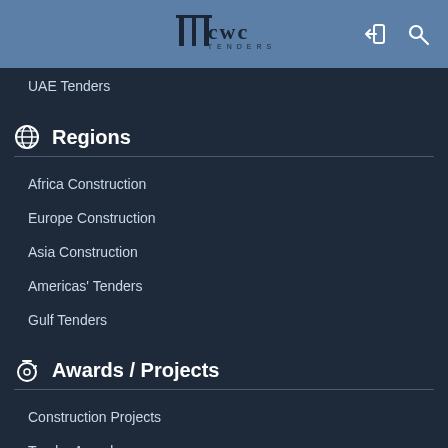[Figure (logo): CWC Tenders logo with bracket and text, on blue header bar]
UAE Tenders
Regions
Africa Construction
Europe Construction
Asia Construction
Americas' Tenders
Gulf Tenders
Awards / Projects
Construction Projects
Tender Awards